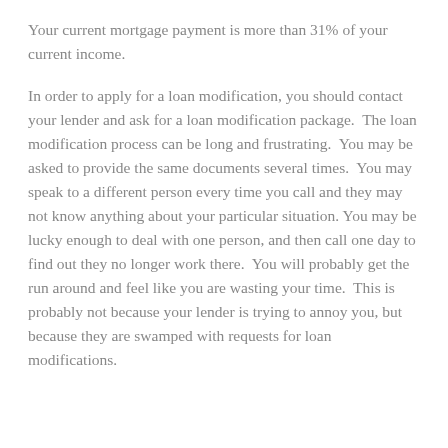Your current mortgage payment is more than 31% of your current income.
In order to apply for a loan modification, you should contact your lender and ask for a loan modification package.  The loan modification process can be long and frustrating.  You may be asked to provide the same documents several times.  You may speak to a different person every time you call and they may not know anything about your particular situation. You may be lucky enough to deal with one person, and then call one day to find out they no longer work there.  You will probably get the run around and feel like you are wasting your time.  This is probably not because your lender is trying to annoy you, but because they are swamped with requests for loan modifications.